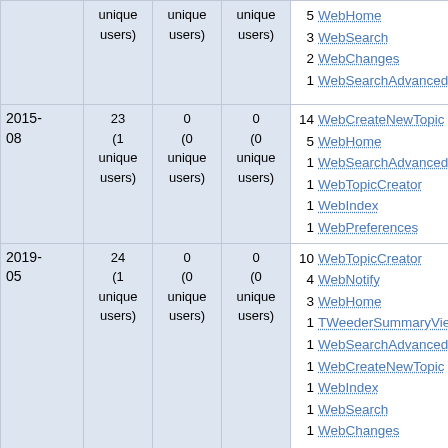| Date | Col1 (unique users) | Col2 (unique users) | Col3 (unique users) | Top pages |
| --- | --- | --- | --- | --- |
|  |  |  |  | 5 WebHome
3 WebSearch
2 WebChanges
1 WebSearchAdvanced |
| 2015-08 | 23 (1 unique users) | 0 (0 unique users) | 0 (0 unique users) | 14 WebCreateNewTopic
5 WebHome
1 WebSearchAdvanced
1 WebTopicCreator
1 WebIndex
1 WebPreferences |
| 2019-05 | 24 (1 unique users) | 0 (0 unique users) | 0 (0 unique users) | 10 WebTopicCreator
4 WebNotify
3 WebHome
1 TWeederSummaryViews
1 WebSearchAdvanced
1 WebCreateNewTopic
1 WebIndex
1 WebSearch
1 WebChanges
1 WebLeftBar |
| 2019- | 25 | 0 | 0 | 7 WebHome |